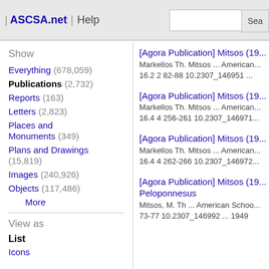| ASCSA.net | Help  [search box] Sea...
Show
Everything (678,059)
Publications (2,732)
Reports (163)
Letters (2,823)
Places and Monuments (349)
Plans and Drawings (15,819)
Images (240,926)
Objects (117,486)
More
View as
List
Icons
[Agora Publication] Mitsos (19...
Markellos Th. Mitsos ... American... 16.2 2 82-88 10.2307_146951 ...
[Agora Publication] Mitsos (19...
Markellos Th. Mitsos ... American... 16.4 4 256-261 10.2307_146971...
[Agora Publication] Mitsos (19...
Markellos Th. Mitsos ... American... 16.4 4 262-266 10.2307_146972...
[Agora Publication] Mitsos (19... Peloponnesus
Mitsos, M. Th ... American Schoo... 73-77 10.2307_146992 ... 1949